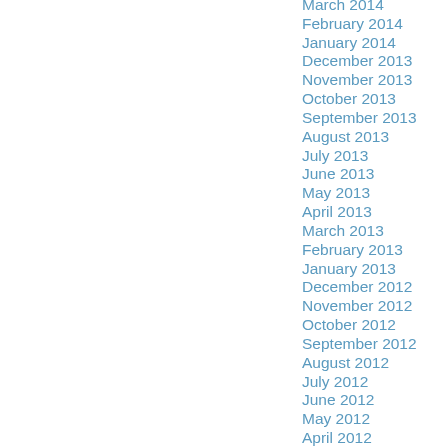March 2014
February 2014
January 2014
December 2013
November 2013
October 2013
September 2013
August 2013
July 2013
June 2013
May 2013
April 2013
March 2013
February 2013
January 2013
December 2012
November 2012
October 2012
September 2012
August 2012
July 2012
June 2012
May 2012
April 2012
March 2012
February 2012
January 2012
December 2011
November 2011
October 2011
September 2011
August 2011